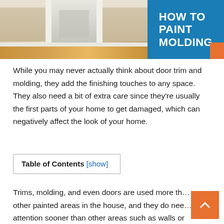[Figure (photo): Hero image split: left side shows a home hallway with white door trim, wooden floors, and white baseboard molding; right side is a blue panel with white bold text reading 'HOW TO PAINT MOLDING' and an orange accent strip.]
While you may never actually think about door trim and molding, they add the finishing touches to any space. They also need a bit of extra care since they're usually the first parts of your home to get damaged, which can negatively affect the look of your home.
| Table of Contents [show] |
Trims, molding, and even doors are used more than other painted areas in the house, and they do need attention sooner than other areas such as walls or